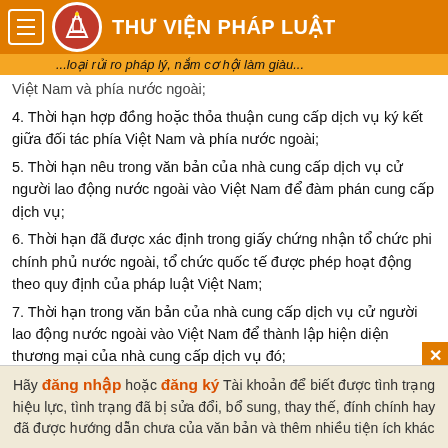THƯ VIỆN PHÁP LUẬT
...loại rủi ro pháp lý, nắm cơ hội làm giàu...
Việt Nam và phía nước ngoài;
4. Thời hạn hợp đồng hoặc thỏa thuận cung cấp dịch vụ ký kết giữa đối tác phía Việt Nam và phía nước ngoài;
5. Thời hạn nêu trong văn bản của nhà cung cấp dịch vụ cử người lao động nước ngoài vào Việt Nam để đàm phán cung cấp dịch vụ;
6. Thời hạn đã được xác định trong giấy chứng nhận tổ chức phi chính phủ nước ngoài, tổ chức quốc tế được phép hoạt động theo quy định của pháp luật Việt Nam;
7. Thời hạn trong văn bản của nhà cung cấp dịch vụ cử người lao động nước ngoài vào Việt Nam để thành lập hiện diện thương mại của nhà cung cấp dịch vụ đó;
8. Thời hạn trong văn bản chứng minh người lao động nước
Hãy đăng nhập hoặc đăng ký Tài khoản để biết được tình trạng hiệu lực, tình trạng đã bị sửa đổi, bổ sung, thay thế, đính chính hay đã được hướng dẫn chưa của văn bản và thêm nhiều tiện ích khác